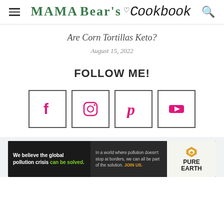Mama Bear's Cookbook
Are Corn Tortillas Keto?
August 15, 2022
FOLLOW ME!
[Figure (infographic): Four social media icon boxes: Facebook (f), Instagram (camera), Pinterest (P), YouTube (play button), each in a square border, icons in pink/magenta color]
[Figure (infographic): Pure Earth advertisement banner: black background left section with text 'We believe the global pollution crisis can be solved.', middle dark section with text 'In a world where pollution doesn't stop at borders, we can all be part of the solution. JOIN US.', right white section with Pure Earth diamond logo and text 'PURE EARTH']